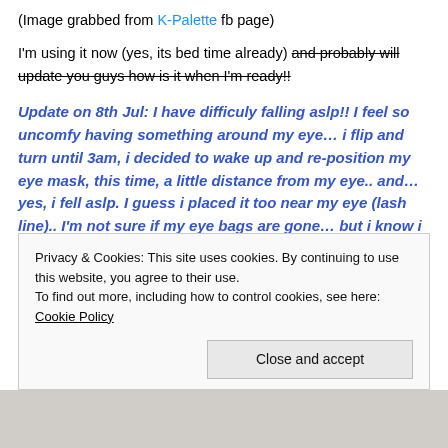(Image grabbed from K-Palette fb page)
I'm using it now (yes, its bed time already) and probably will update you guys how is it when I'm ready!!
Update on 8th Jul: I have difficuly falling aslp!! I feel so uncomfy having something around my eye… i flip and turn until 3am, i decided to wake up and re-position my eye mask, this time, a little distance from my eye.. and… yes, i fell aslp. I guess i placed it too near my eye (lash line).. I'm not sure if my eye bags are gone… but i know i gained a sleep line. the patch caused a sleep line on my face (sign
Privacy & Cookies: This site uses cookies. By continuing to use this website, you agree to their use.
To find out more, including how to control cookies, see here: Cookie Policy
[Figure (photo): Bottom portion of an image, appears to show a person's face/chin area]